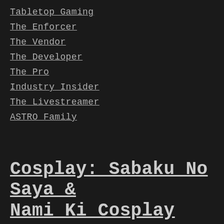Tabletop Gaming
The Enforcer
The Vendor
The Developer
The Pro
Industry Insider
The Livestreamer
ASTRO Family
Cosplay: Sabaku No Saya & Nami Ki Cosplay